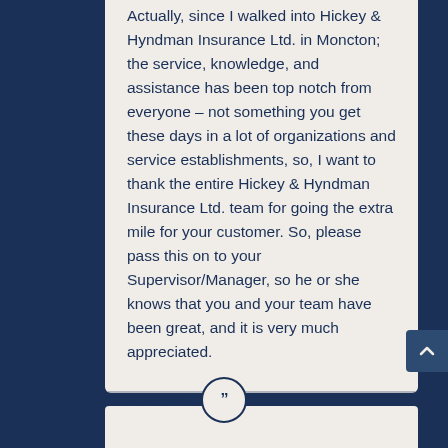Actually, since I walked into Hickey & Hyndman Insurance Ltd. in Moncton; the service, knowledge, and assistance has been top notch from everyone – not something you get these days in a lot of organizations and service establishments, so, I want to thank the entire Hickey & Hyndman Insurance Ltd. team for going the extra mile for your customer. So, please pass this on to your Supervisor/Manager, so he or she knows that you and your team have been great, and it is very much appreciated.
A. Berry